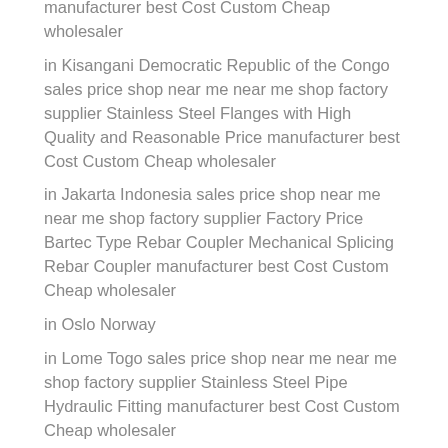manufacturer best Cost Custom Cheap wholesaler
in Kisangani Democratic Republic of the Congo sales price shop near me near me shop factory supplier Stainless Steel Flanges with High Quality and Reasonable Price manufacturer best Cost Custom Cheap wholesaler
in Jakarta Indonesia sales price shop near me near me shop factory supplier Factory Price Bartec Type Rebar Coupler Mechanical Splicing Rebar Coupler manufacturer best Cost Custom Cheap wholesaler
in Oslo Norway
in Lome Togo sales price shop near me near me shop factory supplier Stainless Steel Pipe Hydraulic Fitting manufacturer best Cost Custom Cheap wholesaler
in Uyo Nigeria
in Genoa Italy